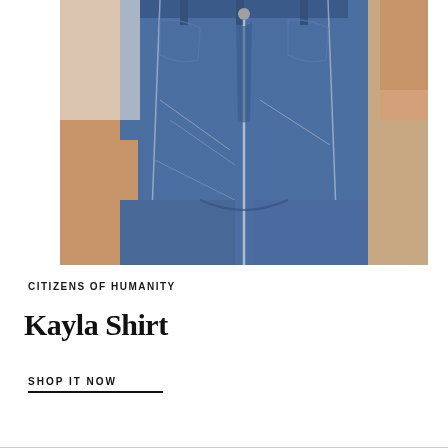[Figure (photo): Close-up photo of a woman wearing high-waisted dark blue denim jeans and a white shirt, showing the torso area with hands at side]
CITIZENS OF HUMANITY
Kayla Shirt
SHOP IT NOW